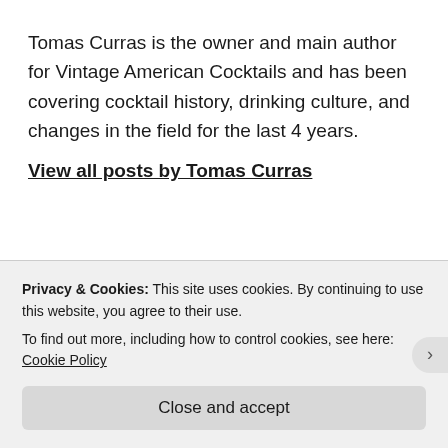Tomas Curras is the owner and main author for Vintage American Cocktails and has been covering cocktail history, drinking culture, and changes in the field for the last 4 years.
View all posts by Tomas Curras
Previous Post
Corpse Reviver No 2 – Original
Privacy & Cookies: This site uses cookies. By continuing to use this website, you agree to their use.
To find out more, including how to control cookies, see here: Cookie Policy
Close and accept